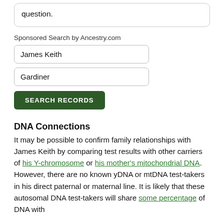question.
Sponsored Search by Ancestry.com
James Keith
Gardiner
SEARCH RECORDS
DNA Connections
It may be possible to confirm family relationships with James Keith by comparing test results with other carriers of his Y-chromosome or his mother's mitochondrial DNA. However, there are no known yDNA or mtDNA test-takers in his direct paternal or maternal line. It is likely that these autosomal DNA test-takers will share some percentage of DNA with